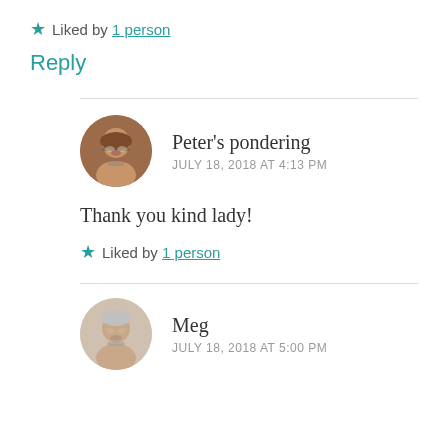★ Liked by 1 person
Reply
Peter's pondering
JULY 18, 2018 AT 4:13 PM
Thank you kind lady!
★ Liked by 1 person
Meg
JULY 18, 2018 AT 5:00 PM